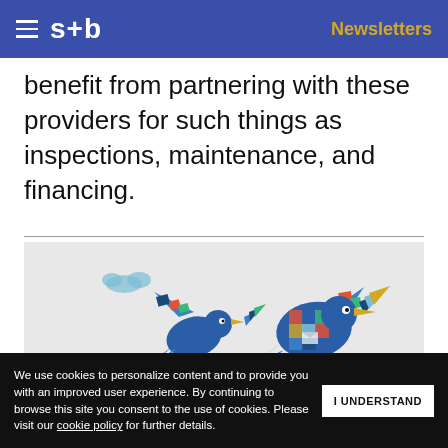s+b | Newsletters
benefit from partnering with these providers for such things as inspections, maintenance, and financing.
[Figure (illustration): Decorative illustration of colorful geometric birds flying, on a light gray background. Overlaid with a dark blue newsletter signup panel reading 'Get s+b's award-winning newsletter delivered to your inbox.' and partial text 'NEWSLETTER' and 'BOX' visible on the right side.]
We use cookies to personalize content and to provide you with an improved user experience. By continuing to browse this site you consent to the use of cookies. Please visit our cookie policy for further details.